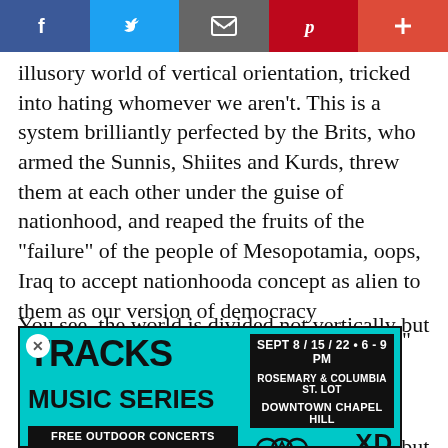[Figure (screenshot): Social media share bar with Facebook, Twitter, email, Pinterest, and plus buttons]
illusory world of vertical orientation, tricked into hating whomever we aren't. This is a system brilliantly perfected by the Brits, who armed the Sunnis, Shiites and Kurds, threw them at each other under the guise of nationhood, and reaped the fruits of the "failure" of the people of Mesopotamia, oops, Iraq to accept nationhooda concept as alien to them as our version of democracy (demonstrated by the '00 and '04 "elections," the first determined in a court, the second, well, we simply don't know).
You see, the world is divided not vertically but horizontally. You sitting at your day job have more in com[...]o with an elite[...]ner we, all[...]have accord[...]ter the
[Figure (infographic): Advertisement overlay for Tracks Music Series: Sept 8/15/22 • 6-9 PM, Rosemary & Columbia St. Lot, Downtown Chapel Hill. Free Outdoor Concerts. Community Arts & Culture. XDCH logos.]